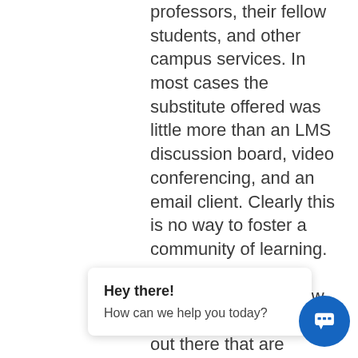professors, their fellow students, and other campus services. In most cases the substitute offered was little more than an LMS discussion board, video conferencing, and an email client. Clearly this is no way to foster a community of learning.

There are a select few social learning solutions out there that are designed specifically to motivate students to connect with one another and their professors. Equally i...ese s...s keep intune with student
Hey there!
How can we help you today?